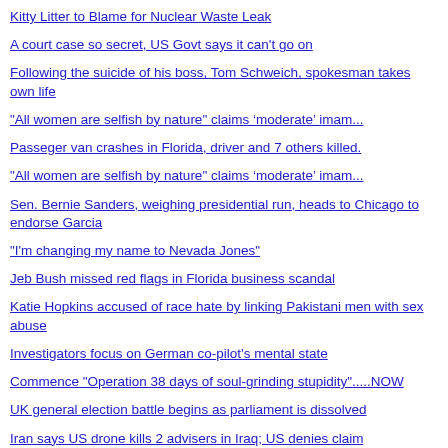Kitty Litter to Blame for Nuclear Waste Leak
A court case so secret, US Govt says it can't go on
Following the suicide of his boss, Tom Schweich, spokesman takes own life
"All women are selfish by nature" claims ‘moderate’ imam...
Passeger van crashes in Florida, driver and 7 others killed.
"All women are selfish by nature" claims ‘moderate’ imam...
Sen. Bernie Sanders, weighing presidential run, heads to Chicago to endorse Garcia
"I'm changing my name to Nevada Jones"
Jeb Bush missed red flags in Florida business scandal
Katie Hopkins accused of race hate by linking Pakistani men with sex abuse
Investigators focus on German co-pilot's mental state
Commence "Operation 38 days of soul-grinding stupidity".....NOW
UK general election battle begins as parliament is dissolved
Iran says US drone kills 2 advisers in Iraq; US denies claim